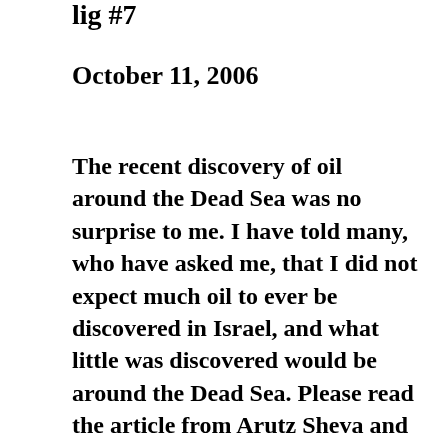lig #7
October 11, 2006
The recent discovery of oil around the Dead Sea was no surprise to me. I have told many, who have asked me, that I did not expect much oil to ever be discovered in Israel, and what little was discovered would be around the Dead Sea. Please read the article from Arutz Sheva and the excerpt from my first book, Tectonic Chaos, published in the